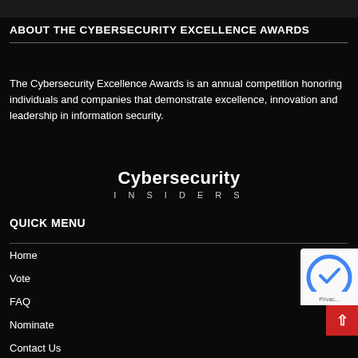ABOUT THE CYBERSECURITY EXCELLENCE AWARDS
The Cybersecurity Excellence Awards is an annual competition honoring individuals and companies that demonstrate excellence, innovation and leadership in information security.
[Figure (logo): Cybersecurity Insiders logo with bold serif title and spaced-out INSIDERS subtitle]
QUICK MENU
Home
Vote
FAQ
Nominate
Contact Us
Sponsorship Opportunities